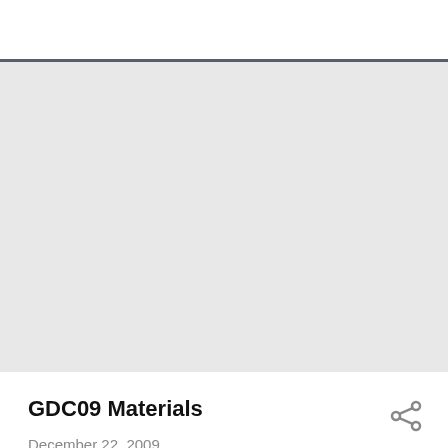[Figure (other): Gray placeholder area representing a document or image preview region]
GDC09 Materials
December 22, 2009